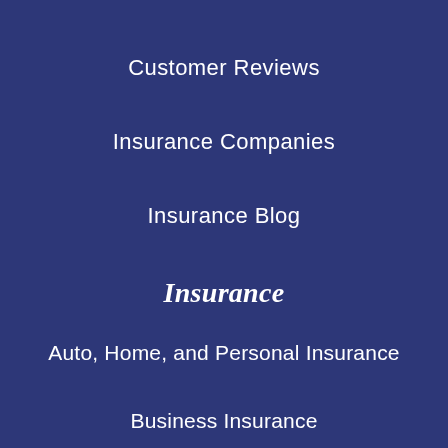Customer Reviews
Insurance Companies
Insurance Blog
Insurance
Auto, Home, and Personal Insurance
Business Insurance
Life Insurance